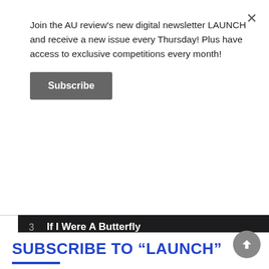Join the AU review's new digital newsletter LAUNCH and receive a new issue every Thursday! Plus have access to exclusive competitions every month!
Subscribe
| # | Title / Artist | Duration |
| --- | --- | --- |
| 3 | If I Were A Butterfly
Rayland Baxter | 5:57 |
| 4 | Over Again
Fever Pitch | 3:24 |
| 5 | Month of July
Pearl | 4:01 |
| 6 | The Hypnogogue
The Church | 6:13 |
SUBSCRIBE TO “LAUNCH”